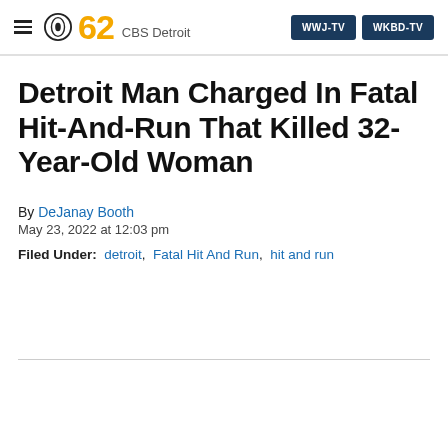CBS 62 CBS Detroit | WWJ-TV | WKBD-TV
Detroit Man Charged In Fatal Hit-And-Run That Killed 32-Year-Old Woman
By DeJanay Booth
May 23, 2022 at 12:03 pm
Filed Under:  detroit,  Fatal Hit And Run,  hit and run